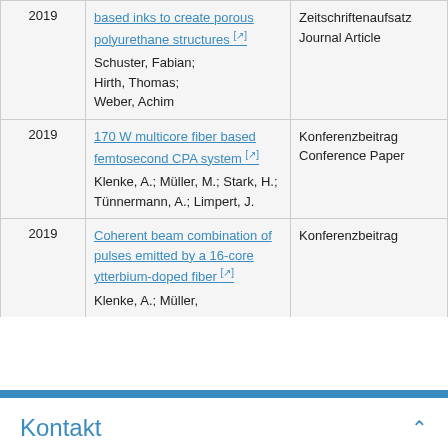| Year | Title / Authors | Type |
| --- | --- | --- |
| 2019 | based inks to create porous polyurethane structures [↗]
Schuster, Fabian; Hirth, Thomas; Weber, Achim | Zeitschriftenaufsatz
Journal Article |
| 2019 | 170 W multicore fiber based femtosecond CPA system [↗]
Klenke, A.; Müller, M.; Stark, H.; Tünnermann, A.; Limpert, J. | Konferenzbeitrag
Conference Paper |
| 2019 | Coherent beam combination of pulses emitted by a 16-core ytterbium-doped fiber [↗]
Klenke, A.; Müller, | Konferenzbeitrag |
Kontakt